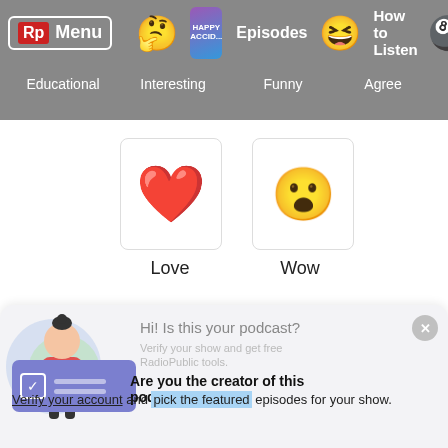Rp Menu | [emoji: thinking] | [podcast thumbnail] Episodes | How to Listen | Educational | Interesting | Funny | Agree
[Figure (illustration): Heart emoji reaction card labeled Love, and surprised face emoji reaction card labeled Wow]
Love
Wow
[Figure (illustration): Bottom panel with illustrated person figure, Hi! Is this your podcast? prompt, Verify your show and get free RadioPublic tools text, overlay card with checkbox, Are you the creator of this podcast? bold text, Verify your account (underlined) and pick the featured (highlighted in blue) episodes for your show.]
Hi! Is this your podcast?
Verify your show and get free RadioPublic tools.
Are you the creator of this podcast?
Verify your account and pick the featured episodes for your show.